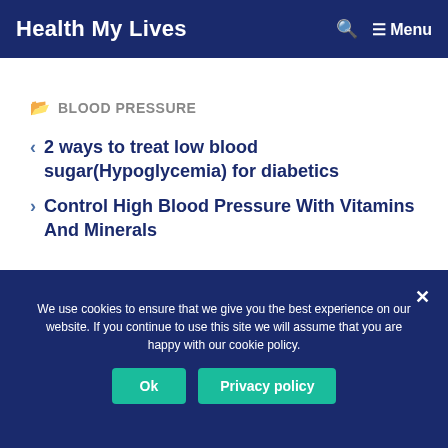Health My Lives  🔍  ☰ Menu
📁 BLOOD PRESSURE
< 2 ways to treat low blood sugar(Hypoglycemia) for diabetics
> Control High Blood Pressure With Vitamins And Minerals
We use cookies to ensure that we give you the best experience on our website. If you continue to use this site we will assume that you are happy with our cookie policy.  Ok  Privacy policy